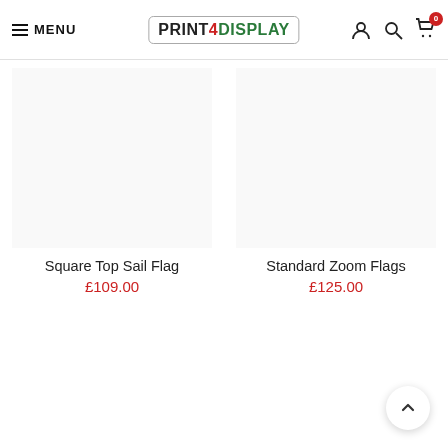MENU | PRINT 4DISPLAY | [user icon] [search icon] [cart icon] 0
Square Top Sail Flag
£109.00
Standard Zoom Flags
£125.00